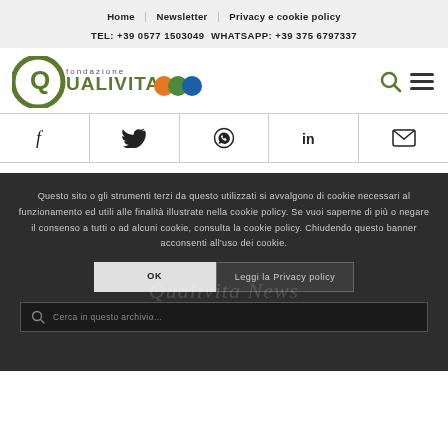Home | Newsletter | Privacy e cookie policy
TEL: +39 0577 1503049  WHATSAPP: +39 375 6797337
[Figure (logo): Fondazione Qualivita logo with Q mark and colored certification icons (orange, green, blue)]
[Figure (infographic): Social share icons row: Facebook, Twitter, WhatsApp, LinkedIn, Email]
Questo sito o gli strumenti terzi da questo utilizzati si avvalgono di cookie necessari al funzionamento ed utili alle finalità illustrate nella cookie policy. Se vuoi saperne di più o negare il consenso a tutti o ad alcuni cookie, consulta la cookie policy. Chiudendo questo banner acconsenti all'uso dei cookie.
OK
Leggi la Privacy policy
Cerca in questo archivio...